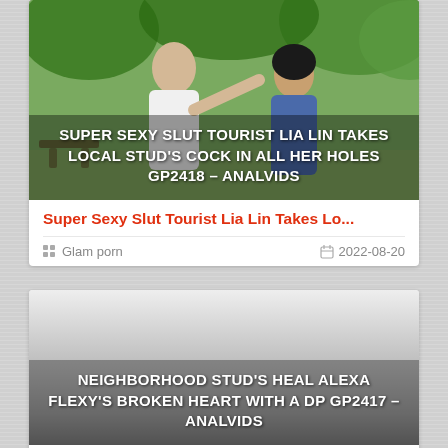[Figure (photo): Outdoor scene with two people, man pointing, overlaid with video title text]
Super Sexy Slut Tourist Lia Lin Takes Lo...
Glam porn  2022-08-20
[Figure (photo): Gray-toned thumbnail with video title text overlay]
Neighborhood Stud's Heal Alexa Flexy's...